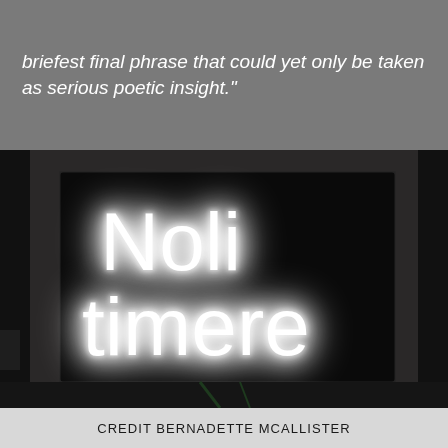briefest final phrase that could yet only be taken as serious poetic insight."
[Figure (photo): Photograph of a neon sign reading 'Noli timere' in white neon letters on a dark black background, displayed in what appears to be a workshop or storage space with dark surroundings.]
CREDIT BERNADETTE MCALLISTER